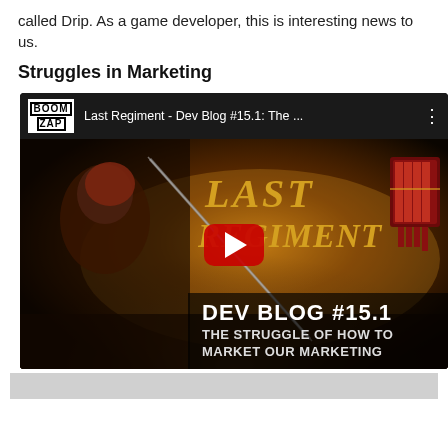called Drip. As a game developer, this is interesting news to us.
Struggles in Marketing
[Figure (screenshot): YouTube video thumbnail for 'Last Regiment - Dev Blog #15.1: The ...' showing a warrior character with a sword on the left, the game title 'Last Regiment' in golden stylized text, a shield/banner graphic, a YouTube play button in the center, and text overlay 'DEV BLOG #15.1 THE STRUGGLE OF HOW TO MARKET OUR MARKETING' at the bottom right. The BoomZap channel logo is shown in the top left corner of the video player.]